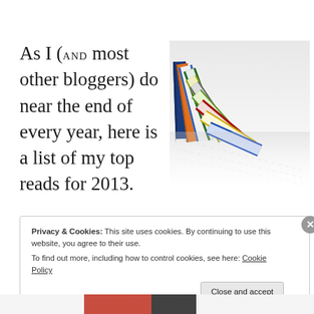As I (and most other bloggers) do near the end of every year, here is a list of my top reads for 2013.
[Figure (photo): Colorful books leaning against each other in a row on a white reflective surface, viewed from the side, with spines showing various colors including blue, orange, green, yellow, gray, red.]
Privacy & Cookies: This site uses cookies. By continuing to use this website, you agree to their use.
To find out more, including how to control cookies, see here: Cookie Policy

Close and accept